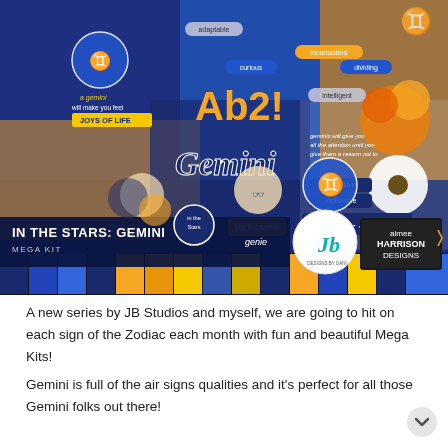[Figure (illustration): Product preview image for 'In the Stars: Gemini Mega Kit' digital scrapbooking collection. Colorful collage featuring Gemini zodiac theme with blue, orange, and gold colors. Shows various stickers, papers, flowers, and zodiac-themed elements. Bottom banner shows product title 'IN THE STARS: GEMINI' and 'MEGA KIT' with JB Designs by Dani and Aimee Harrison Designs logos. Bottom strip shows pattern paper swatches in blue, orange, and yellow.]
A new series by JB Studios and myself, we are going to hit on each sign of the Zodiac each month with fun and beautiful Mega Kits!
Gemini is full of the air signs qualities and it's perfect for all those Gemini folks out there!